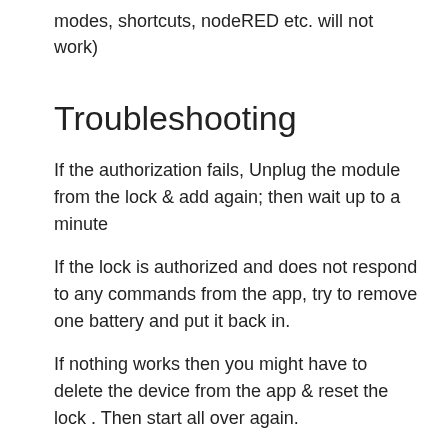modes, shortcuts, nodeRED etc. will not work)
Troubleshooting
If the authorization fails, Unplug the module from the lock & add again; then wait up to a minute
If the lock is authorized and does not respond to any commands from the app, try to remove one battery and put it back in.
If nothing works then you might have to delete the device from the app & reset the lock . Then start all over again.
Reset the lock
If you are not able to include the lock, you might need to